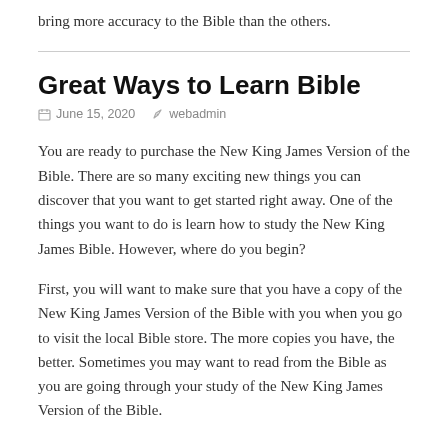bring more accuracy to the Bible than the others.
Great Ways to Learn Bible
June 15, 2020   webadmin
You are ready to purchase the New King James Version of the Bible. There are so many exciting new things you can discover that you want to get started right away. One of the things you want to do is learn how to study the New King James Bible. However, where do you begin?
First, you will want to make sure that you have a copy of the New King James Version of the Bible with you when you go to visit the local Bible store. The more copies you have, the better. Sometimes you may want to read from the Bible as you are going through your study of the New King James Version of the Bible.